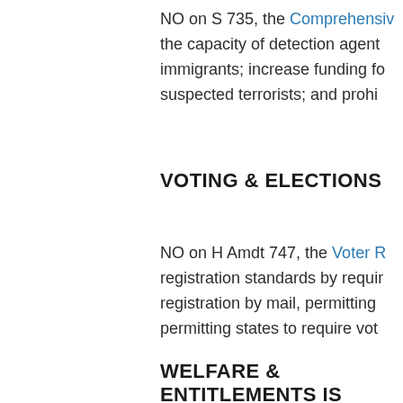NO on S 735, the Comprehensive... the capacity of detection agent... immigrants; increase funding fo... suspected terrorists; and prohi...
VOTING & ELECTIONS
NO on H Amdt 747, the Voter R... registration standards by requir... registration by mail, permitting... permitting states to require vot...
WELFARE & ENTITLEMENTS IS...